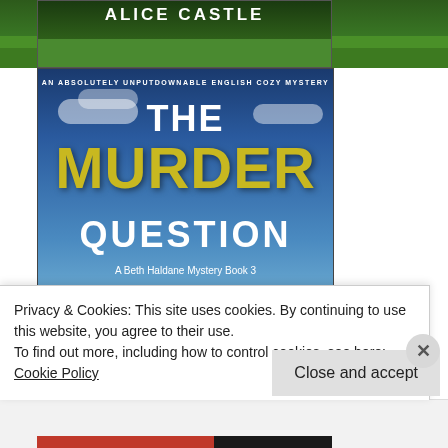[Figure (illustration): Top portion of a book cover by Alice Castle, showing green grass and partial title text 'ALICE CASTLE' at top]
[Figure (illustration): Book cover: 'The Murder Question – A Beth Haldane Mystery Book 3' by Alice Castle. AN ABSOLUTELY UNPUTDOWNABLE ENGLISH COZY MYSTERY. Large yellow text 'MURDER' and white text 'THE' and 'QUESTION'. Background shows blue sky with farm buildings.]
Privacy & Cookies: This site uses cookies. By continuing to use this website, you agree to their use.
To find out more, including how to control cookies, see here:
Cookie Policy
Close and accept